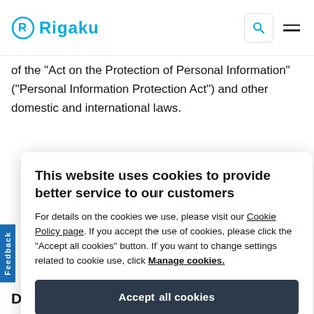[Figure (logo): Rigaku company logo with blue circular R symbol and blue Rigaku wordmark]
of the "Act on the Protection of Personal Information" ("Personal Information Protection Act") and other domestic and international laws.
This website uses cookies to provide better service to our customers
For details on the cookies we use, please visit our Cookie Policy page. If you accept the use of cookies, please click the "Accept all cookies" button. If you want to change settings related to cookie use, click Manage cookies.
DEFINITIONS